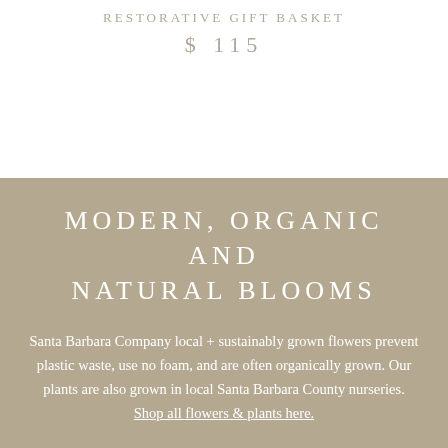RESTORATIVE GIFT BASKET
$ 115
MODERN, ORGANIC AND NATURAL BLOOMS
Santa Barbara Company local + sustainably grown flowers prevent plastic waste, use no foam, and are often organically grown. Our plants are also grown in local Santa Barbara County nurseries. Shop all flowers & plants here.